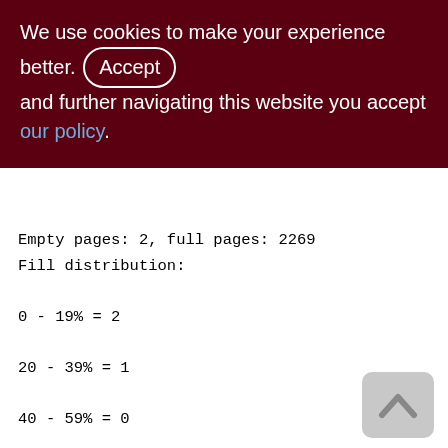We use cookies to make your experience better. By accepting and further navigating this website you accept our policy.
Empty pages: 2, full pages: 2269
Fill distribution:
0 - 19% = 2
20 - 39% = 1
40 - 59% = 0
60 - 79% = 2269
80 - 99% = 0

Index PERF_EST_MINUTE_SINCE_START (0)
Root page: 61129, depth: 2, leaf buckets: 212, nodes: 265731
Average node length: 4.52, total dup: 265550, max dup: 2088